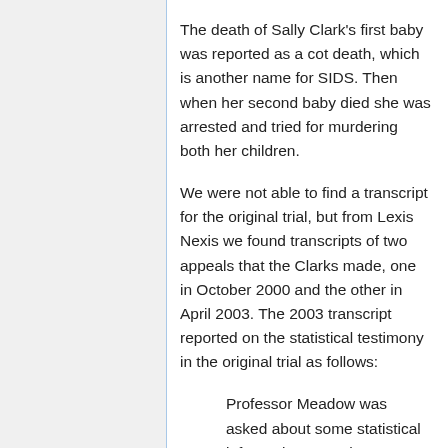The death of Sally Clark's first baby was reported as a cot death, which is another name for SIDS. Then when her second baby died she was arrested and tried for murdering both her children.
We were not able to find a transcript for the original trial, but from Lexis Nexis we found transcripts of two appeals that the Clarks made, one in October 2000 and the other in April 2003. The 2003 transcript reported on the statistical testimony in the original trial as follows:
Professor Meadow was asked about some statistical information as to the happening of two cot deaths within the same family, which at that time was about to be published